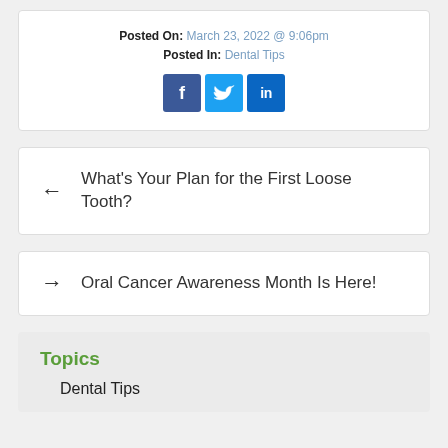Posted On: March 23, 2022 @ 9:06pm
Posted In: Dental Tips
[Figure (infographic): Social media share buttons: Facebook (f), Twitter (bird icon), LinkedIn (in)]
← What's Your Plan for the First Loose Tooth?
→ Oral Cancer Awareness Month Is Here!
Topics
Dental Tips